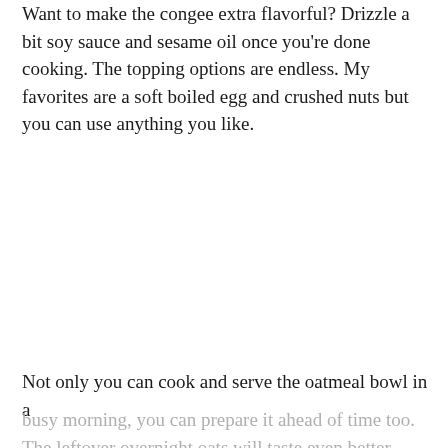Want to make the congee extra flavorful? Drizzle a bit soy sauce and sesame oil once you're done cooking. The topping options are endless. My favorites are a soft boiled egg and crushed nuts but you can use anything you like.
Not only you can cook and serve the oatmeal bowl in a busy morning, you can prepare it ahead of time too. The leftover overnight oats will taste even better. Heat it up in